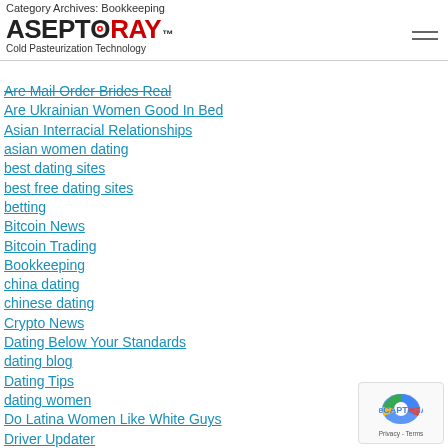Category Archives: Bookkeeping
[Figure (logo): AseptoRay logo with Cold Pasteurization Technology tagline and hamburger menu icon]
Are Mail Order Brides Real
Are Ukrainian Women Good In Bed
Asian Interracial Relationships
asian women dating
best dating sites
best free dating sites
betting
Bitcoin News
Bitcoin Trading
Bookkeeping
china dating
chinese dating
Crypto News
Dating Below Your Standards
dating blog
Dating Tips
dating women
Do Latina Women Like White Guys
Driver Updater
Education
family
filipino women
FinTech
fishing reports